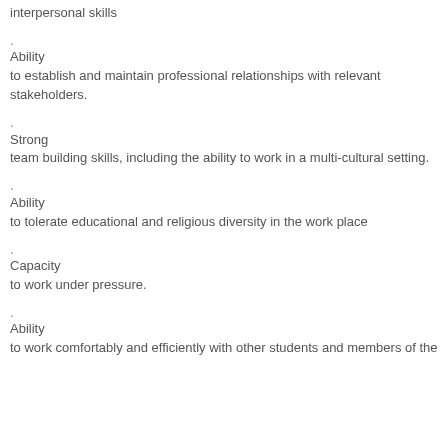interpersonal skills
Ability to establish and maintain professional relationships with relevant stakeholders.
Strong team building skills, including the ability to work in a multi-cultural setting.
Ability to tolerate educational and religious diversity in the work place
Capacity to work under pressure.
Ability to work comfortably and efficiently with other students and members of the